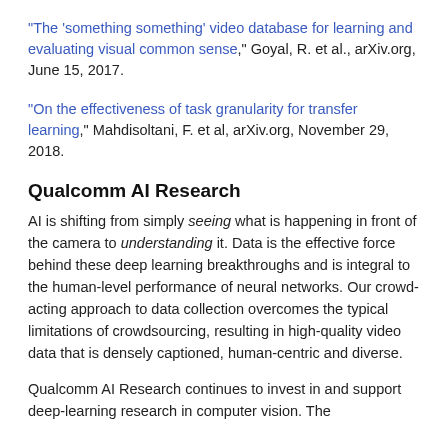"The 'something something' video database for learning and evaluating visual common sense," Goyal, R. et al., arXiv.org, June 15, 2017.
"On the effectiveness of task granularity for transfer learning," Mahdisoltani, F. et al, arXiv.org, November 29, 2018.
Qualcomm AI Research
AI is shifting from simply seeing what is happening in front of the camera to understanding it. Data is the effective force behind these deep learning breakthroughs and is integral to the human-level performance of neural networks. Our crowd-acting approach to data collection overcomes the typical limitations of crowdsourcing, resulting in high-quality video data that is densely captioned, human-centric and diverse.
Qualcomm AI Research continues to invest in and support deep-learning research in computer vision. The